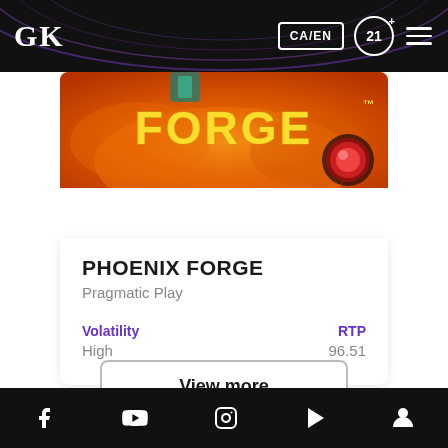GK  CA/EN  21+
[Figure (screenshot): Game banner image for Phoenix Forge slot game showing 'FORGE' text in yellow on fiery orange background with decorative gem/orb]
PHOENIX FORGE
Pragmatic Play
Volatility
High
RTP
96.51
View more
Facebook  YouTube  Instagram  Google Play  Account